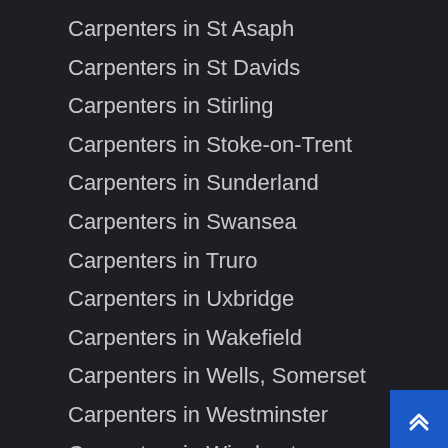Carpenters in St Asaph
Carpenters in St Davids
Carpenters in Stirling
Carpenters in Stoke-on-Trent
Carpenters in Sunderland
Carpenters in Swansea
Carpenters in Truro
Carpenters in Uxbridge
Carpenters in Wakefield
Carpenters in Wells, Somerset
Carpenters in Westminster
Carpenters in Winchester
Carpenters in Wolverhampton
Carpenters in Worcester
Carpenters in York